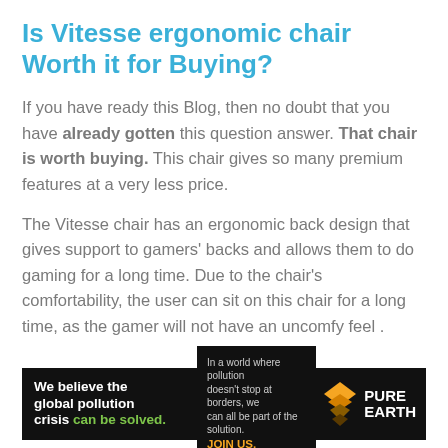Is Vitesse ergonomic chair Worth it for Buying?
If you have ready this Blog, then no doubt that you have already gotten this question answer. That chair is worth buying. This chair gives so many premium features at a very less price.
The Vitesse chair has an ergonomic back design that gives support to gamers' backs and allows them to do gaming for a long time. Due to the chair's comfortability, the user can sit on this chair for a long time, as the gamer will not have an uncomfy feel .
[Figure (infographic): Pure Earth advertisement banner: black background with white bold text 'We believe the global pollution crisis can be solved.' with 'can be solved.' in green. Middle section says 'In a world where pollution doesn't stop at borders, we can all be part of the solution. JOIN US.' Right side shows Pure Earth logo (yellow/gold diamond with chevron layers) and 'PURE EARTH' text in white.]